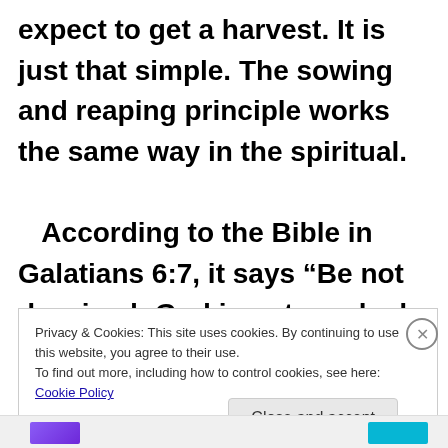expect to get a harvest. It is just that simple. The sowing and reaping principle works the same way in the spiritual.

 According to the Bible in Galatians 6:7, it says “Be not deceived; God is not mocked: for whatsoever a man soweth,
Privacy & Cookies: This site uses cookies. By continuing to use this website, you agree to their use.
To find out more, including how to control cookies, see here: Cookie Policy
Close and accept